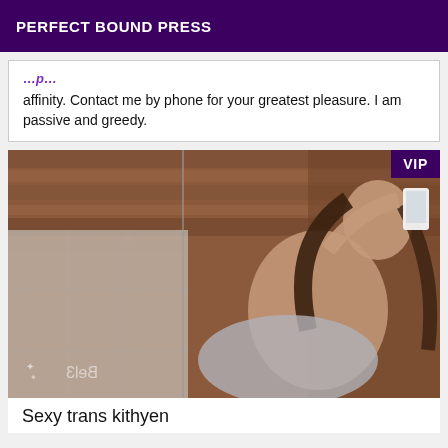PERFECT BOUND PRESS
affinity. Contact me by phone for your greatest pleasure. I am passive and greedy.
[Figure (photo): A person taking a mirror selfie in a bathroom with wooden ceiling, holding a white phone. VIP badge in top right corner.]
Sexy trans kithyen